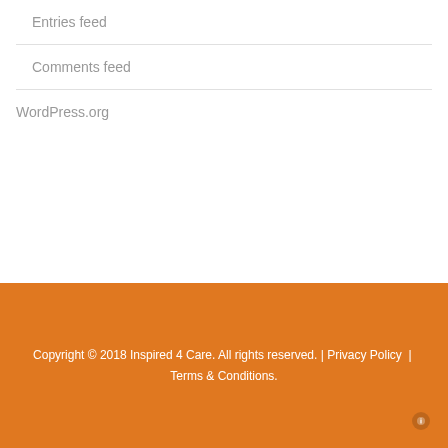Entries feed
Comments feed
WordPress.org
Copyright © 2018 Inspired 4 Care. All rights reserved. | Privacy Policy | Terms & Conditions.